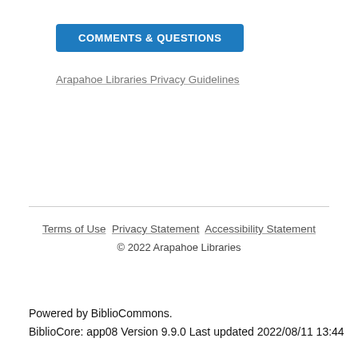COMMENTS & QUESTIONS
Arapahoe Libraries Privacy Guidelines
Terms of Use  Privacy Statement  Accessibility Statement
© 2022 Arapahoe Libraries
Powered by BiblioCommons.
BiblioCore: app08 Version 9.9.0 Last updated 2022/08/11 13:44